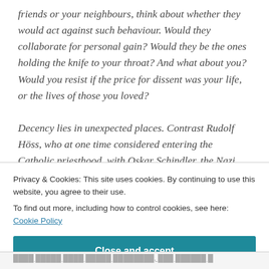friends or your neighbours, think about whether they would act against such behaviour. Would they collaborate for personal gain? Would they be the ones holding the knife to your throat? And what about you? Would you resist if the price for dissent was your life, or the lives of those you loved?
Decency lies in unexpected places. Contrast Rudolf Höss, who at one time considered entering the Catholic priesthood, with Oskar Schindler, the Nazi chancer who
Privacy & Cookies: This site uses cookies. By continuing to use this website, you agree to their use.
To find out more, including how to control cookies, see here: Cookie Policy
Close and accept